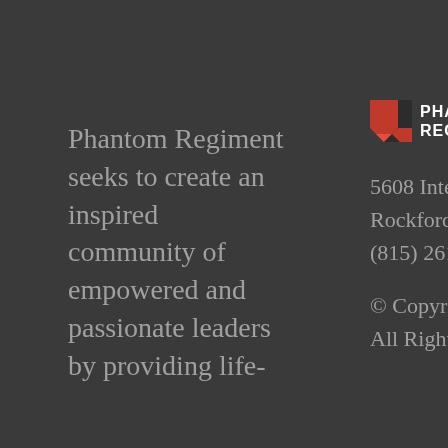Phantom Regiment seeks to create an inspired community of empowered and passionate leaders by providing life-
[Figure (logo): Phantom Regiment logo with red and dark shield/chevron graphic and white uppercase text PHANTOM REGIMENT]
5608 International Drive, Rockford, IL 61109 (815) 261-1956
© Copyright 2012 - 2022  |  All Rights Reserved